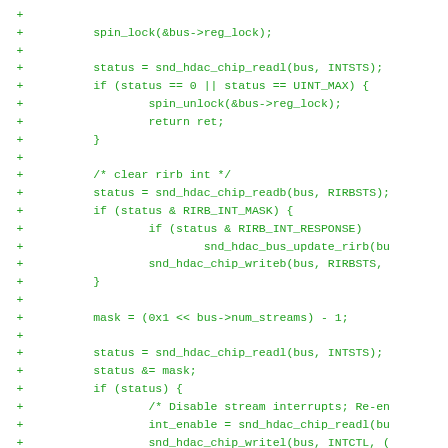Code diff showing interrupt handling routine in C. Lines include spin_lock, snd_hdac_chip_readl, status checks, rirb int clearing, mask calculation, stream interrupt handling.